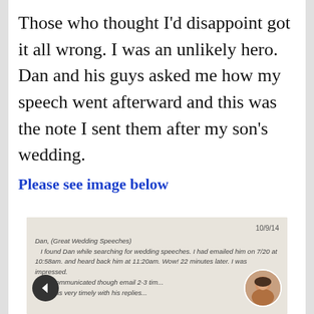Those who thought I'd disappoint got it all wrong. I was an unlikely hero. Dan and his guys asked me how my speech went afterward and this was the note I sent them after my son's wedding.
Please see image below
[Figure (photo): A handwritten note dated 10/9/14 addressed to Dan (Great Wedding Speeches), describing how the writer found Dan while searching for wedding speeches, emailed him on 7/20 at 10:58am, received a reply at 11:20am (only 22 minutes later) and was impressed. They communicated through email 2-3 times and he was very timely with his replies.]